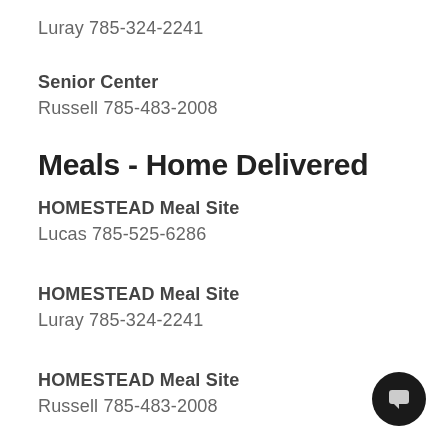Luray 785-324-2241
Senior Center
Russell 785-483-2008
Meals - Home Delivered
HOMESTEAD Meal Site
Lucas 785-525-6286
HOMESTEAD Meal Site
Luray 785-324-2241
HOMESTEAD Meal Site
Russell 785-483-2008